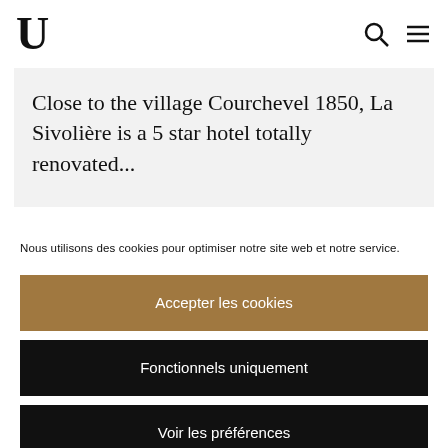U
Close to the village Courchevel 1850, La Sivolière is a 5 star hotel totally renovated...
Nous utilisons des cookies pour optimiser notre site web et notre service.
Accepter les cookies
Fonctionnels uniquement
Voir les préférences
CGU  CGU